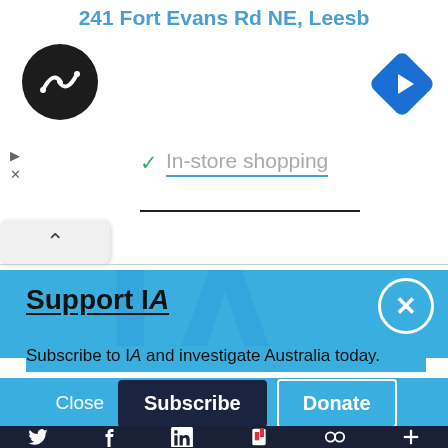[Figure (screenshot): Top portion of a mobile browser screenshot showing an address bar with '241 Fort Evans Rd NE, Leesb', a circular dark logo with chain-link icon, a blue diamond navigation arrow icon, play/close icons, 'In-store shopping' text with checkmark, and a chevron-up button]
Support IA
Subscribe to IA and investigate Australia today.
[Figure (screenshot): Blue subscription panel with Close, Subscribe, and Donate buttons, and a close (X) circle button in top right]
Social media icon bar: Twitter, Facebook, LinkedIn, Flipboard, chain link, plus